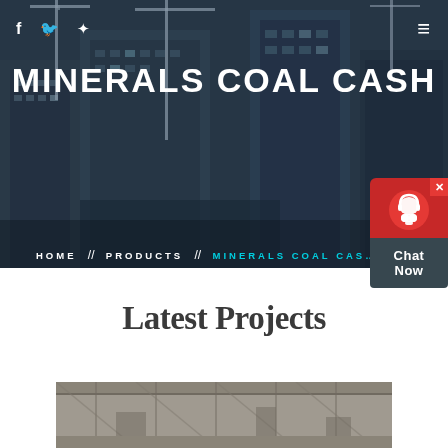[Figure (screenshot): Hero banner with dark-overlaid city construction site background, cranes and buildings visible]
f  🐦  ⊕  ≡
MINERALS COAL CASH
HOME  //  PRODUCTS  //  MINERALS COAL CAS…
[Figure (illustration): Chat Now widget with red background, person headset icon and dark Chat Now label]
Latest Projects
[Figure (photo): Interior of an industrial or construction facility, greyscale]